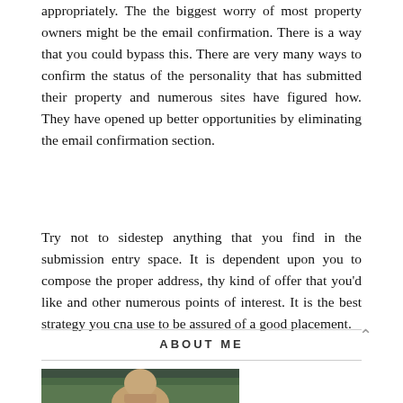appropriately. The the biggest worry of most property owners might be the email confirmation. There is a way that you could bypass this. There are very many ways to confirm the status of the personality that has submitted their property and numerous sites have figured how. They have opened up better opportunities by eliminating the email confirmation section.
Try not to sidestep anything that you find in the submission entry space. It is dependent upon you to compose the proper address, thy kind of offer that you'd like and other numerous points of interest. It is the best strategy you cna use to be assured of a good placement.
ABOUT ME
[Figure (photo): Partial photo of a person outdoors with green background vegetation, cropped at bottom of page]